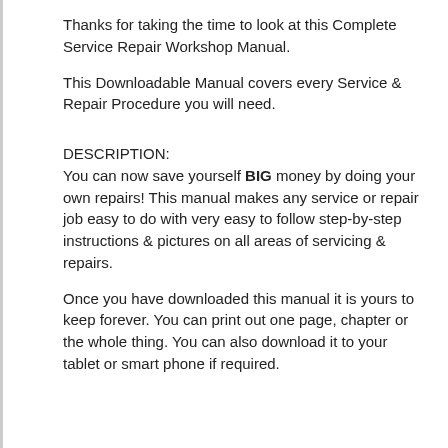Thanks for taking the time to look at this Complete Service Repair Workshop Manual.
This Downloadable Manual covers every Service & Repair Procedure you will need.
DESCRIPTION:
You can now save yourself BIG money by doing your own repairs! This manual makes any service or repair job easy to do with very easy to follow step-by-step instructions & pictures on all areas of servicing & repairs.
Once you have downloaded this manual it is yours to keep forever. You can print out one page, chapter or the whole thing. You can also download it to your tablet or smart phone if required.